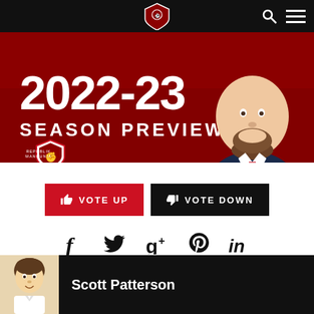Navigation bar with logo, search, and menu icons
[Figure (illustration): Banner image showing '2022-23 SEASON PREVIEW' text in large white letters on red background, with an illustrated caricature of a man in a navy suit with red tie, and a Republik Mancunia badge/shield logo]
[Figure (other): VOTE UP button (red) and VOTE DOWN button (black)]
[Figure (other): Social media sharing icons: Facebook, Twitter, Google+, Pinterest, LinkedIn]
Scott Patterson